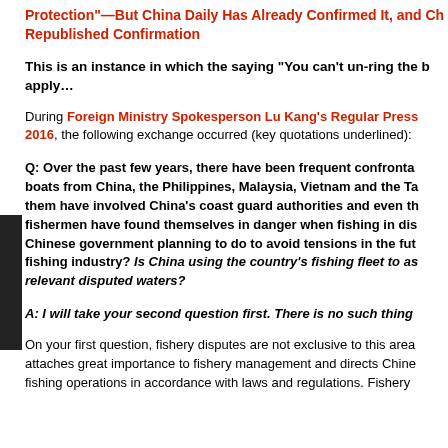Protection"—But China Daily Has Already Confirmed It, and Ch Republished Confirmation
This is an instance in which the saying "You can't un-ring the b apply…
During Foreign Ministry Spokesperson Lu Kang's Regular Press 2016, the following exchange occurred (key quotations underlined):
Q: Over the past few years, there have been frequent confronta boats from China, the Philippines, Malaysia, Vietnam and the Ta them have involved China's coast guard authorities and even th fishermen have found themselves in danger when fishing in dis Chinese government planning to do to avoid tensions in the fut fishing industry? Is China using the country's fishing fleet to as relevant disputed waters?
A: I will take your second question first. There is no such thing
On your first question, fishery disputes are not exclusive to this area attaches great importance to fishery management and directs Chine fishing operations in accordance with laws and regulations. Fishery